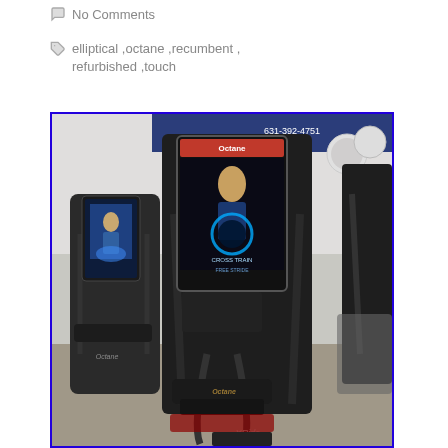No Comments
elliptical ,octane ,recumbent , refurbished ,touch
[Figure (photo): Photo of Octane brand elliptical and recumbent exercise machines in a showroom, with touch screen displays visible on the machines. A banner with phone number 631-392-4751 is visible in the background.]